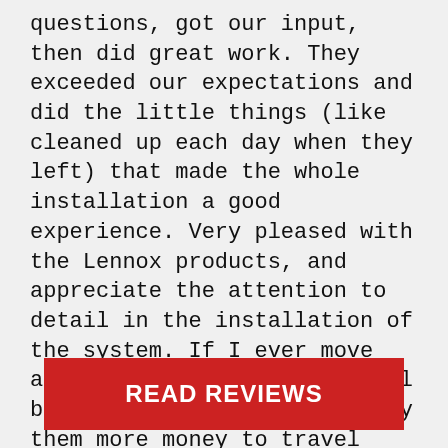questions, got our input, then did great work. They exceeded our expectations and did the little things (like cleaned up each day when they left) that made the whole installation a good experience. Very pleased with the Lennox products, and appreciate the attention to detail in the installation of the system. If I ever move and need work done. Bain will be my first call. I would pay them more money to travel than take my chances. Highest recommendation."
– Lee
[Figure (other): Red button with white bold text reading 'READ REVIEWS']